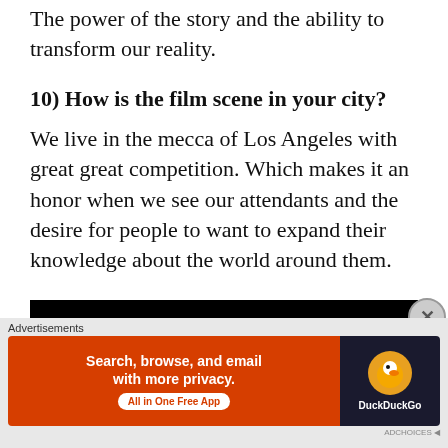The power of the story and the ability to transform our reality.
10) How is the film scene in your city?
We live in the mecca of Los Angeles with great great competition. Which makes it an honor when we see our attendants and the desire for people to want to expand their knowledge about the world around them.
[Figure (photo): Movie banner image with text 'THROUGH MY EYES' in red stylized font on black background, with a strip of close-up eye photographs below.]
Advertisements
[Figure (screenshot): DuckDuckGo advertisement banner: 'Search, browse, and email with more privacy. All in One Free App' on orange background with DuckDuckGo logo on dark background.]